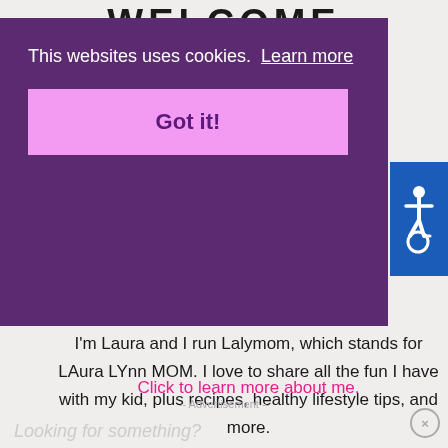WELCOME
[Figure (screenshot): Cookie consent overlay on purple background with text 'This websites uses cookies. Learn more' and a pink 'Got it!' button]
[Figure (infographic): Accessibility icon (wheelchair symbol) on blue background in top right corner]
I'm Laura and I run Lalymom, which stands for LAura LYnn MOM. I love to share all the fun I have with my kid, plus recipes, healthy lifestyle tips, and more.
Click to learn more about me.
-- Advertisement --
Looking for something?